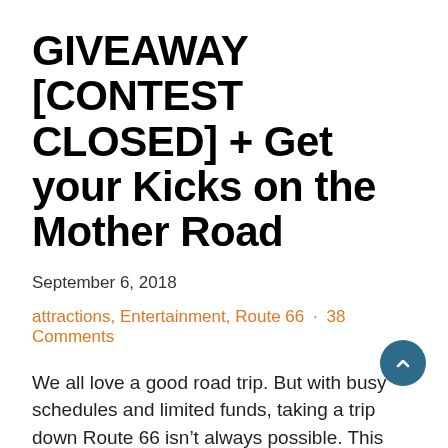GIVEAWAY [CONTEST CLOSED] + Get your Kicks on the Mother Road
September 6, 2018
attractions, Entertainment, Route 66 · 38 Comments
We all love a good road trip. But with busy schedules and limited funds, taking a trip down Route 66 isn't always possible. This year, we are bringing all of the famous Route 66 stops to you, in one walk-able exhibit. The Mother Road is a fun and interactive journey through all eight states along Route 66: Illinois